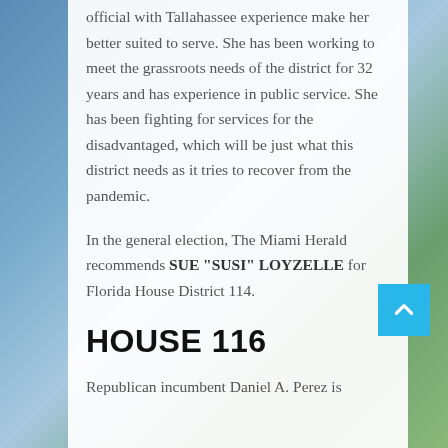official with Tallahassee experience make her better suited to serve. She has been working to meet the grassroots needs of the district for 32 years and has experience in public service. She has been fighting for services for the disadvantaged, which will be just what this district needs as it tries to recover from the pandemic.
In the general election, The Miami Herald recommends SUE “SUSI” LOYZELLE for Florida House District 114.
HOUSE 116
Republican incumbent Daniel A. Perez is